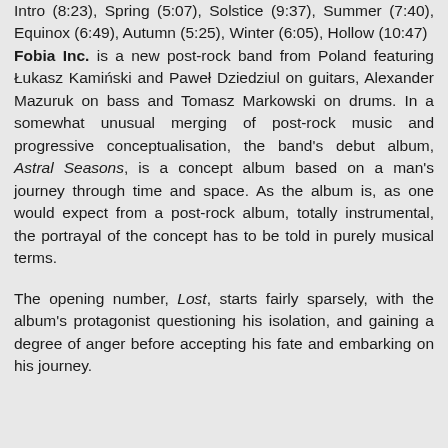Intro (8:23), Spring (5:07), Solstice (9:37), Summer (7:40), Equinox (6:49), Autumn (5:25), Winter (6:05), Hollow (10:47)
Fobia Inc. is a new post-rock band from Poland featuring Łukasz Kamiński and Paweł Dziedziul on guitars, Alexander Mazuruk on bass and Tomasz Markowski on drums. In a somewhat unusual merging of post-rock music and progressive conceptualisation, the band's debut album, Astral Seasons, is a concept album based on a man's journey through time and space. As the album is, as one would expect from a post-rock album, totally instrumental, the portrayal of the concept has to be told in purely musical terms.
The opening number, Lost, starts fairly sparsely, with the album's protagonist questioning his isolation, and gaining a degree of anger before accepting his fate and embarking on his journey.